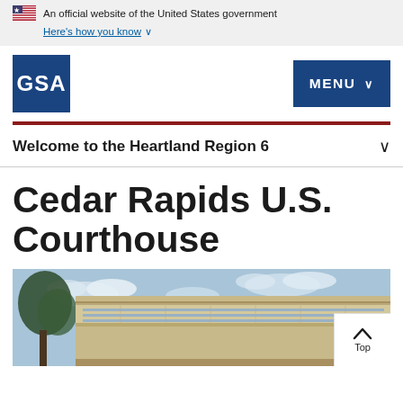An official website of the United States government
Here's how you know ∨
[Figure (logo): GSA (General Services Administration) logo — white text on dark blue square background]
MENU ∨
Welcome to the Heartland Region 6
Cedar Rapids U.S. Courthouse
[Figure (photo): Exterior photo of the Cedar Rapids U.S. Courthouse showing a modern building with glass facade, horizontal lines, with trees and blue sky in background]